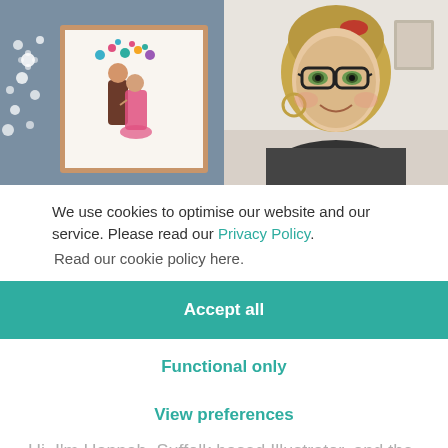[Figure (photo): Split banner image: left side shows a framed illustration of a wedding couple with floral elements against a dark blue-grey wall with white flowers; right side shows a close-up photo of a smiling woman with glasses and blonde hair wearing hoop earrings.]
We use cookies to optimise our website and our service. Please read our Privacy Policy. Read our cookie policy here.
Accept all
Functional only
View preferences
Hi, I'm Hannah, Suffolk based Illustrator, and the face